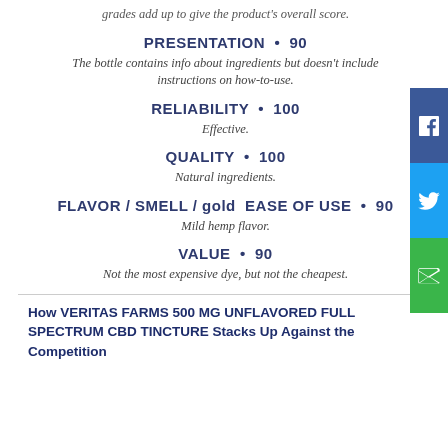grades add up to give the product's overall score.
PRESENTATION • 90
The bottle contains info about ingredients but doesn't include instructions on how-to-use.
RELIABILITY • 100
Effective.
QUALITY • 100
Natural ingredients.
FLAVOR / SMELL / gold EASE OF USE • 90
Mild hemp flavor.
VALUE • 90
Not the most expensive dye, but not the cheapest.
How VERITAS FARMS 500 MG UNFLAVORED FULL SPECTRUM CBD TINCTURE Stacks Up Against the Competition